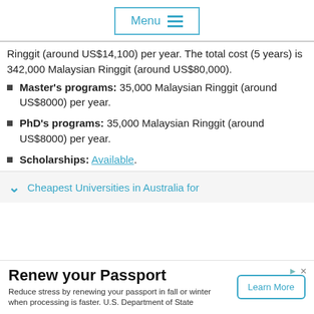Menu
Ringgit (around US$14,100) per year. The total cost (5 years) is 342,000 Malaysian Ringgit (around US$80,000).
Master's programs: 35,000 Malaysian Ringgit (around US$8000) per year.
PhD's programs: 35,000 Malaysian Ringgit (around US$8000) per year.
Scholarships: Available.
Cheapest Universities in Australia for
Renew your Passport
Reduce stress by renewing your passport in fall or winter when processing is faster. U.S. Department of State